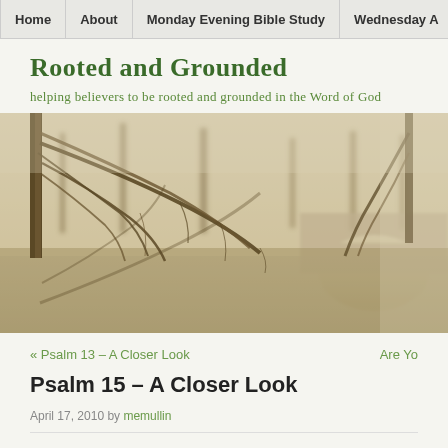Home | About | Monday Evening Bible Study | Wednesday A
Rooted and Grounded
helping believers to be rooted and grounded in the Word of God
[Figure (photo): A misty landscape photo showing bare winter trees with drooping branches reflected in water, with a stone bridge arch visible in the foggy background. Sepia/warm tones.]
« Psalm 13 – A Closer Look
Are Yo
Psalm 15 – A Closer Look
April 17, 2010 by memullin